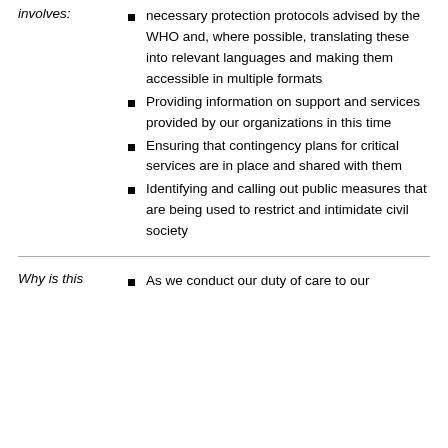necessary protection protocols advised by the WHO and, where possible, translating these into relevant languages and making them accessible in multiple formats
Providing information on support and services provided by our organizations in this time
Ensuring that contingency plans for critical services are in place and shared with them
Identifying and calling out public measures that are being used to restrict and intimidate civil society
Why is this
As we conduct our duty of care to our